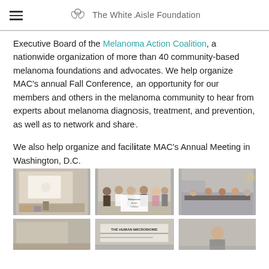The White Aisle Foundation
Executive Board of the Melanoma Action Coalition, a nationwide organization of more than 40 community-based melanoma foundations and advocates. We help organize MAC's annual Fall Conference, an opportunity for our members and others in the melanoma community to hear from experts about melanoma diagnosis, treatment, and prevention, as well as to network and share.
We also help organize and facilitate MAC's Annual Meeting in Washington, D.C.
[Figure (photo): Group photo and conference photos in a 2-row grid of 3 images each]
[Figure (photo): Group of people holding a sign at a conference]
[Figure (photo): Panel of people seated at a conference table]
[Figure (photo): Conference room scene]
[Figure (photo): Sign reading THE HUMAN MICROBIOME]
[Figure (photo): Person at a conference]